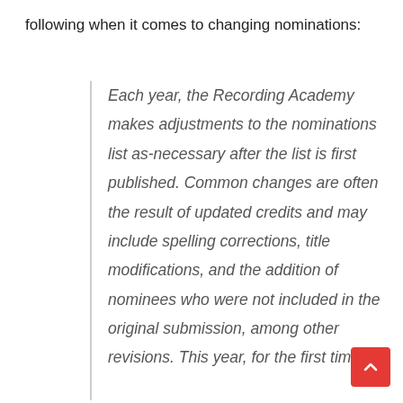following when it comes to changing nominations:
Each year, the Recording Academy makes adjustments to the nominations list as-necessary after the list is first published. Common changes are often the result of updated credits and may include spelling corrections, title modifications, and the addition of nominees who were not included in the original submission, among other revisions. This year, for the first time,